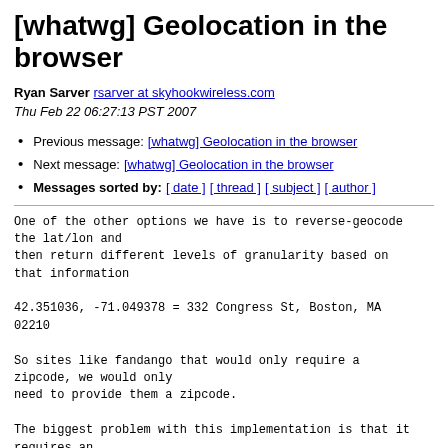[whatwg] Geolocation in the browser
Ryan Sarver rsarver at skyhookwireless.com
Thu Feb 22 06:27:13 PST 2007
Previous message: [whatwg] Geolocation in the browser
Next message: [whatwg] Geolocation in the browser
Messages sorted by: [ date ] [ thread ] [ subject ] [ author ]
One of the other options we have is to reverse-geocode the lat/lon and
then return different levels of granularity based on that information

42.351036, -71.049378 = 332 Congress St, Boston, MA
02210

So sites like fandango that would only require a zipcode, we would only
need to provide them a zipcode.

The biggest problem with this implementation is that it requires an